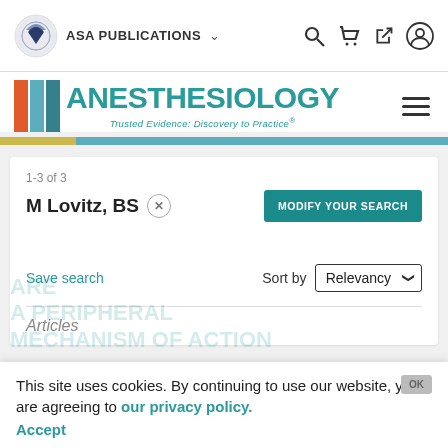ASA PUBLICATIONS
[Figure (logo): Anesthesiology journal logo with colored bars and teal text reading ANESTHESIOLOGY, subtitle: Trusted Evidence: Discovery to Practice®]
1-3 of 3
M Lovitz, BS ×
MODIFY YOUR SEARCH
Save search
Sort by  Relevancy
Articles
This site uses cookies. By continuing to use our website, you are agreeing to our privacy policy. Accept